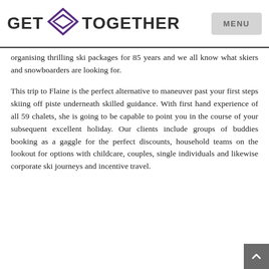GET TOGETHER | MENU
organising thrilling ski packages for 85 years and we all know what skiers and snowboarders are looking for.
This trip to Flaine is the perfect alternative to maneuver past your first steps skiing off piste underneath skilled guidance. With first hand experience of all 59 chalets, she is going to be capable to point you in the course of your subsequent excellent holiday. Our clients include groups of buddies booking as a gaggle for the perfect discounts, household teams on the lookout for options with childcare, couples, single individuals and likewise corporate ski journeys and incentive travel.